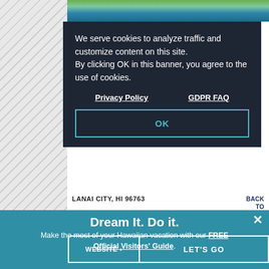[Figure (photo): Scenic Hawaiian coastal image partially visible at top]
We serve cookies to analyze traffic and customize content on this site. By clicking OK in this banner, you agree to the use of cookies.
Privacy Policy    GDPR FAQ
OK
LANAI CITY, HI 96763
BACK TO TOP
Nestled in the lush heart of unspoiled Lana'i, discover th... pined pieces by[...]
Dream It. Do it.
Make the most of your Hawaiian vacation with our FREE Official Visitors' Guide.
Learn more >
WEBSITE >
LET'S GO